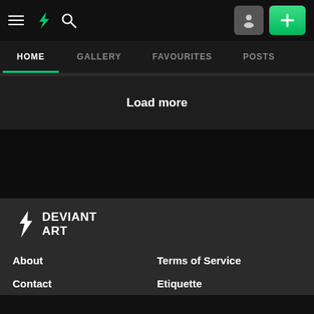DeviantArt navigation bar with hamburger menu, logo, search icon, profile button, and plus button
HOME | GALLERY | FAVOURITES | POSTS
Load more
[Figure (logo): DeviantArt logo with lightning bolt icon and DEVIANT ART text]
About | Terms of Service | Contact | Etiquette